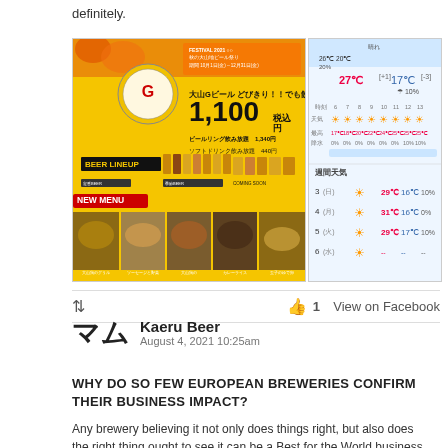definitely.
[Figure (photo): Japanese Oktoberfest beer advertisement showing 大山Gビール priced at 1,100円, with beer lineup images, new menu food photos]
[Figure (screenshot): Japanese weather widget showing weekly forecast with temperatures around 27-31°C highs and sun icons]
👍 1   View on Facebook
Kaeru Beer
August 4, 2021 10:25am
WHY DO SO FEW EUROPEAN BREWERIES CONFIRM THEIR BUSINESS IMPACT?
Any brewery believing it not only does things right, but also does the right thing ought to see it can be a Best for the World business